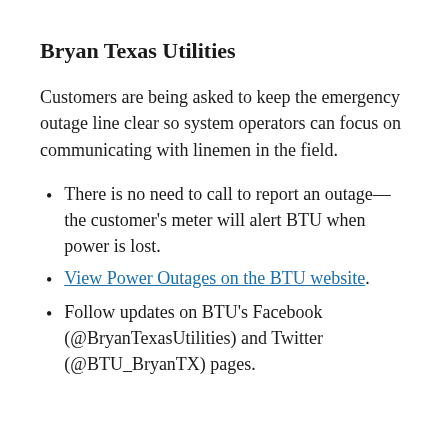Bryan Texas Utilities
Customers are being asked to keep the emergency outage line clear so system operators can focus on communicating with linemen in the field.
There is no need to call to report an outage—the customer's meter will alert BTU when power is lost.
View Power Outages on the BTU website.
Follow updates on BTU's Facebook (@BryanTexasUtilities) and Twitter (@BTU_BryanTX) pages.